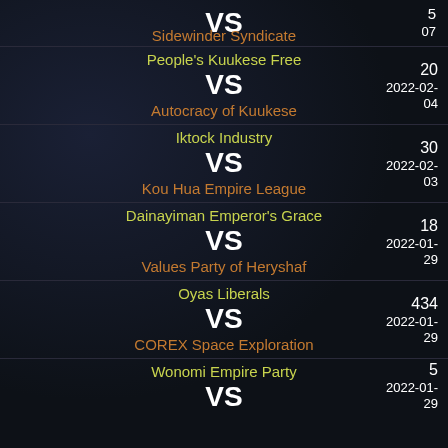VS (partial top row)
07
Sidewinder Syndicate
People's Kuukese Free
VS
Autocracy of Kuukese
20
2022-02-04
Iktock Industry
VS
Kou Hua Empire League
30
2022-02-03
Dainayiman Emperor's Grace
VS
Values Party of Heryshaf
18
2022-01-29
Oyas Liberals
VS
COREX Space Exploration
434
2022-01-29
Wonomi Empire Party
VS
5
2022-01-29